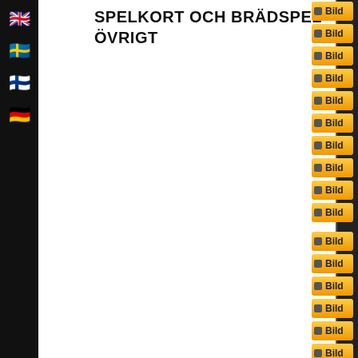SPELKORT OCH BRÄDSPEL ÖVRIGT
[Figure (screenshot): A webpage interface showing a category title 'SPELKORT OCH BRÄDSPEL ÖVRIGT' (Playing cards and board games, miscellaneous) with flag icons on the left sidebar for language selection (UK/English, Swedish, Finnish, German) and a column of orange 'Bild' buttons on the right side, suggesting image thumbnails navigation.]